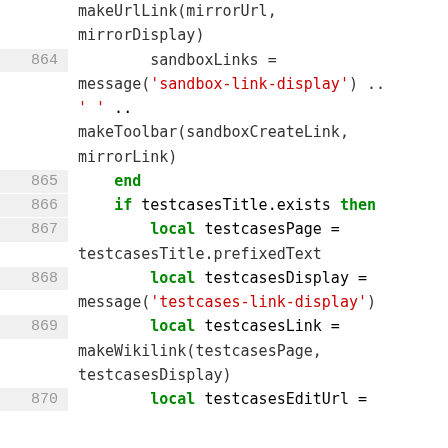Code listing lines 864-870 showing Lua/scripting code with line numbers, keywords in green bold, string literals in red.